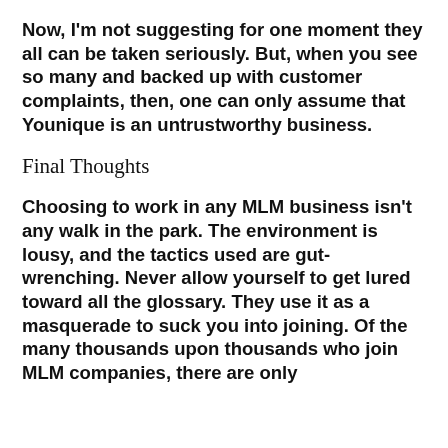Now, I'm not suggesting for one moment they all can be taken seriously. But, when you see so many and backed up with customer complaints, then, one can only assume that Younique is an untrustworthy business.
Final Thoughts
Choosing to work in any MLM business isn't any walk in the park. The environment is lousy, and the tactics used are gut-wrenching. Never allow yourself to get lured toward all the glossary. They use it as a masquerade to suck you into joining. Of the many thousands upon thousands who join MLM companies, there are only